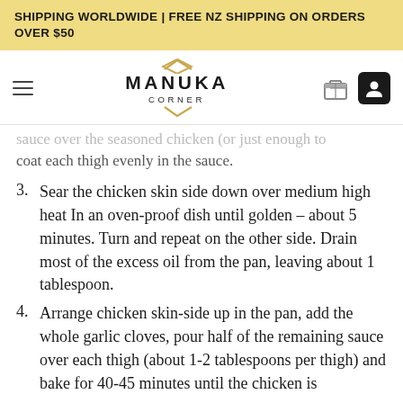SHIPPING WORLDWIDE | FREE NZ SHIPPING ON ORDERS OVER $50
[Figure (logo): Manuka Corner logo with diamond/hexagon shape and text MANUKA CORNER]
sauce over the seasoned chicken (or just enough to coat each thigh evenly in the sauce.
3. Sear the chicken skin side down over medium high heat In an oven-proof dish until golden – about 5 minutes. Turn and repeat on the other side. Drain most of the excess oil from the pan, leaving about 1 tablespoon.
4. Arrange chicken skin-side up in the pan, add the whole garlic cloves, pour half of the remaining sauce over each thigh (about 1-2 tablespoons per thigh) and bake for 40-45 minutes until the chicken is